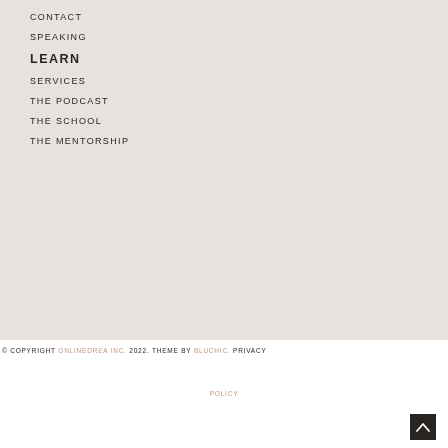CONTACT
SPEAKING
LEARN
SERVICES
THE PODCAST
THE SCHOOL
THE MENTORSHIP
© COPYRIGHT ONLINEDREA INC. 2022. THEME BY BLUCHIC. PRIVACY POLICY